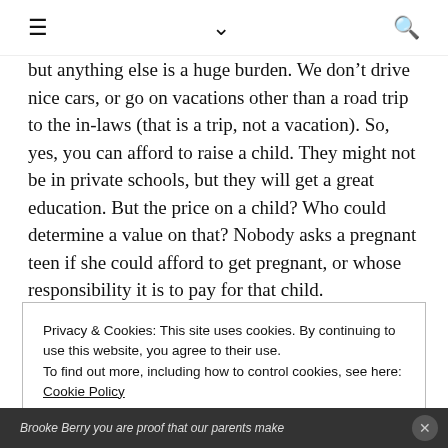≡  ∨  🔍
but anything else is a huge burden. We don't drive nice cars, or go on vacations other than a road trip to the in-laws (that is a trip, not a vacation). So, yes, you can afford to raise a child. They might not be in private schools, but they will get a great education. But the price on a child? Who could determine a value on that? Nobody asks a pregnant teen if she could afford to get pregnant, or whose responsibility it is to pay for that child.
Privacy & Cookies: This site uses cookies. By continuing to use this website, you agree to their use.
To find out more, including how to control cookies, see here: Cookie Policy
Close and accept
Brooke Berry you are proof that our parents make